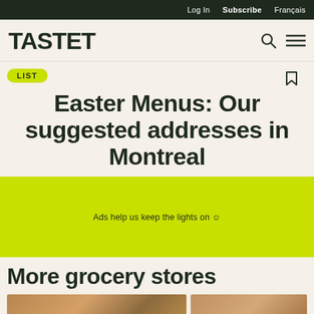Log In  Subscribe  Français
TASTET
LIST
Easter Menus: Our suggested addresses in Montreal
Ads help us keep the lights on ☺
More grocery stores